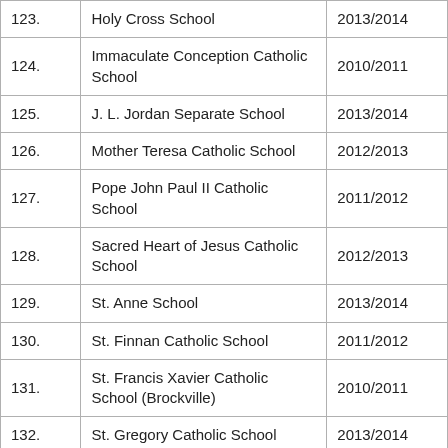| 123. | Holy Cross School | 2013/2014 |
| 124. | Immaculate Conception Catholic School | 2010/2011 |
| 125. | J. L. Jordan Separate School | 2013/2014 |
| 126. | Mother Teresa Catholic School | 2012/2013 |
| 127. | Pope John Paul II Catholic School | 2011/2012 |
| 128. | Sacred Heart of Jesus Catholic School | 2012/2013 |
| 129. | St. Anne School | 2013/2014 |
| 130. | St. Finnan Catholic School | 2011/2012 |
| 131. | St. Francis Xavier Catholic School (Brockville) | 2010/2011 |
| 132. | St. Gregory Catholic School | 2013/2014 |
| 133. | St. James the Greater Catholic School | 2012/2013 |
| 134. | St. John Catholic School | 2012/2013 |
| 135. | St. Joseph Catholic School (Gananoque) | 2010/2011 |